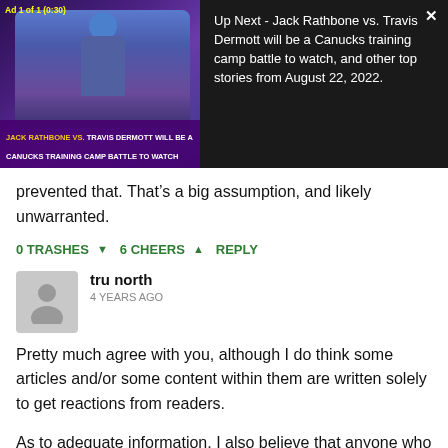[Figure (screenshot): Video ad banner showing a hockey player in purple/blue jersey with helmet. Text overlay reads 'JACK RATHBONE VS. TRAVIS DERMOTT WILL BE A CANUCKS TRAINING CAMP BATTLE TO WATCH'. Ad 1 of 1 (0:30). Right panel text: 'Up Next - Jack Rathbone vs. Travis Dermott will be a Canucks training camp battle to watch, and other top stories from August 22, 2022.' with an X close button.]
prevented that. That’s a big assumption, and likely unwarranted.
0 TRASHES ▾  6 CHEERS ▴  REPLY
tru north
4 YEARS AGO
Pretty much agree with you, although I do think some articles and/or some content within them are written solely to get reactions from readers.
As to adequate information, I also believe that anyone who doesn’t think that Benning was trying for other trades (Guddy, etc.) is ‘special’ … He is known as “Trader Jim”. If anything had been what he thought was good value or